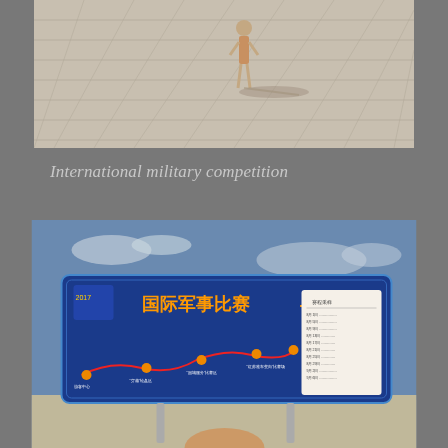[Figure (photo): A person standing on a large paved open area, casting a long shadow, with a tiled or patterned ground surface visible.]
International military competition
[Figure (photo): A large blue informational sign in Chinese reading '国际军事比赛-2017' (International Military Competition 2017), with a route map and schedule details, set against a blue sky.]